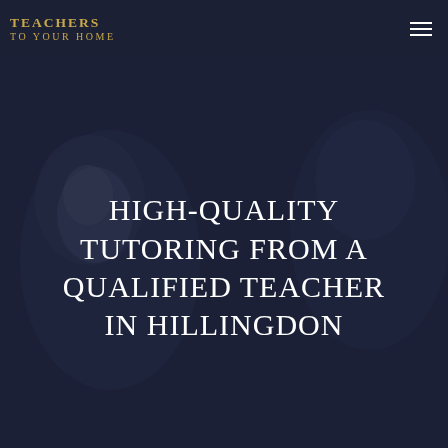[Figure (photo): Hero background showing a blurred close-up of a person's face (appears to be a student or teacher), overlaid with a dark navy semi-transparent overlay]
TEACHERS TO YOUR HOME
HIGH-QUALITY TUTORING FROM A QUALIFIED TEACHER IN HILLINGDON